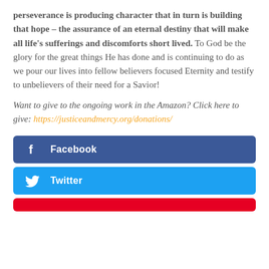perseverance is producing character that in turn is building that hope – the assurance of an eternal destiny that will make all life's sufferings and discomforts short lived. To God be the glory for the great things He has done and is continuing to do as we pour our lives into fellow believers focused Eternity and testify to unbelievers of their need for a Savior!
Want to give to the ongoing work in the Amazon? Click here to give: https://justiceandmercy.org/donations/
[Figure (infographic): Facebook share button (dark blue rounded rectangle with 'f' icon and 'Facebook' label in white)]
[Figure (infographic): Twitter share button (light blue rounded rectangle with bird icon and 'Twitter' label in white)]
[Figure (infographic): Pinterest share button (red rounded rectangle, partially visible)]